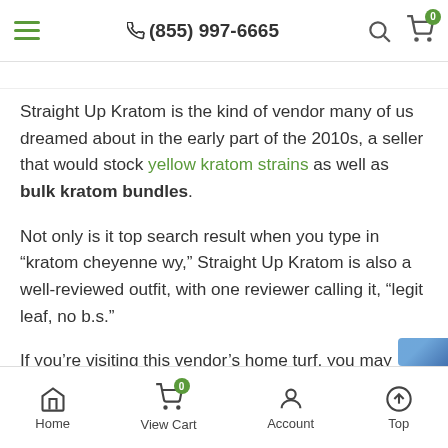(855) 997-6665
Straight Up Kratom is the kind of vendor many of us dreamed about in the early part of the 2010s, a seller that would stock yellow kratom strains as well as bulk kratom bundles.
Not only is it top search result when you type in “kratom cheyenne wy,” Straight Up Kratom is also a well-reviewed outfit, with one reviewer calling it, “legit leaf, no b.s.”
If you’re visiting this vendor’s home turf, you may want to stop by its offices in the Executive Suites Downtown on Central Avenue. It’s just a stone’s throw from Bejo Sushi and Asian Cuisine, so you can have a nice cup of te
Home  View Cart  Account  Top